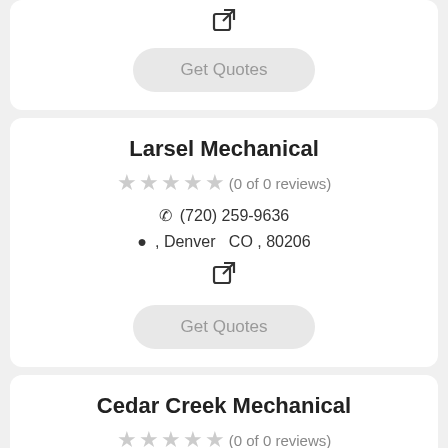[Figure (screenshot): External link icon at top of page]
Get Quotes
Larsel Mechanical
(0 of 0 reviews)
(720) 259-9636
, Denver  CO , 80206
[Figure (screenshot): External link icon]
Get Quotes
Cedar Creek Mechanical
(0 of 0 reviews)